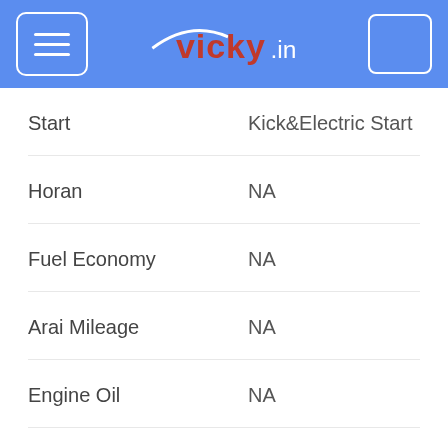[Figure (logo): vicky.in website header with hamburger menu button, vicky.in logo in blue background, and a search/menu button on the right]
| Feature | Value |
| --- | --- |
| Start | Kick&Electric Start |
| Horan | NA |
| Fuel Economy | NA |
| Arai Mileage | NA |
| Engine Oil | NA |
| Front Tyre Pressure(Rider) | NA |
| Rear Tyre Pressure(Rider) | NA |